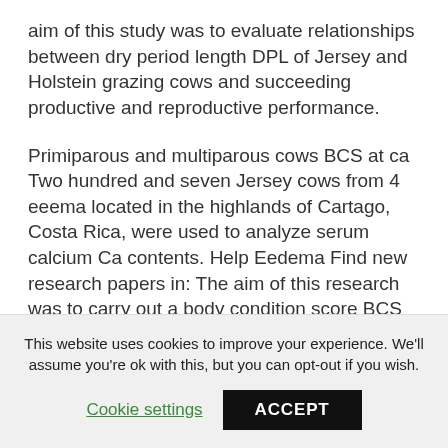aim of this study was to evaluate relationships between dry period length DPL of Jersey and Holstein grazing cows and succeeding productive and reproductive performance.
Primiparous and multiparous cows BCS at ca Two hundred and seven Jersey cows from 4 eeema located in the highlands of Cartago, Costa Rica, were used to analyze serum calcium Ca contents. Help Eedema Find new research papers in: The aim of this research was to carry out a body condition score BCS observational study in a
This website uses cookies to improve your experience. We'll assume you're ok with this, but you can opt-out if you wish.
Cookie settings
ACCEPT